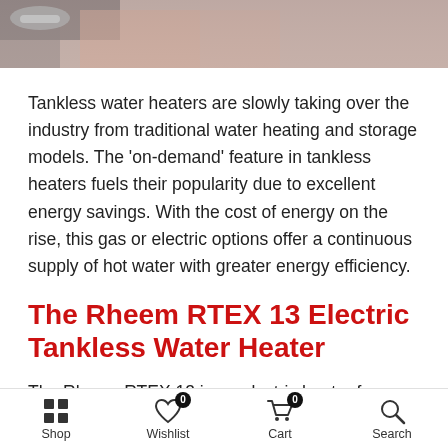[Figure (photo): Partial photo of hands near a faucet/water, cropped at top of page with dark vignette overlay]
Tankless water heaters are slowly taking over the industry from traditional water heating and storage models. The 'on-demand' feature in tankless heaters fuels their popularity due to excellent energy savings. With the cost of energy on the rise, this gas or electric options offer a continuous supply of hot water with greater energy efficiency.
The Rheem RTEX 13 Electric Tankless Water Heater
The Rheem RTEX 13 is an electric heater from Rheem Manufacturing Company that offers instantaneous hot water.
Shop | Wishlist 0 | Cart 0 | Search